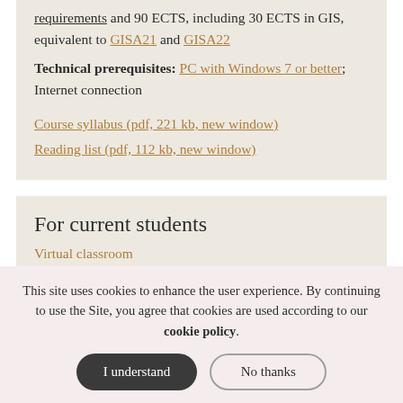requirements and 90 ECTS, including 30 ECTS in GIS, equivalent to GISA21 and GISA22
Technical prerequisites: PC with Windows 7 or better; Internet connection
Course syllabus (pdf, 221 kb, new window)
Reading list (pdf, 112 kb, new window)
For current students
Virtual classroom
This site uses cookies to enhance the user experience. By continuing to use the Site, you agree that cookies are used according to our cookie policy.